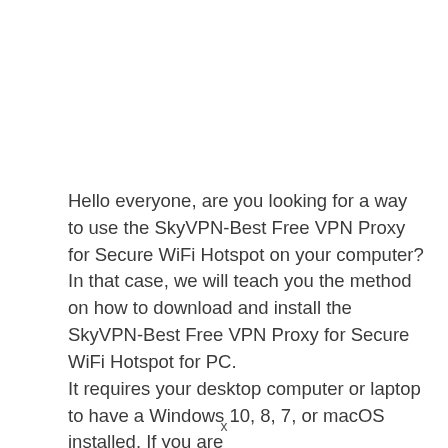Hello everyone, are you looking for a way to use the SkyVPN-Best Free VPN Proxy for Secure WiFi Hotspot on your computer? In that case, we will teach you the method on how to download and install the SkyVPN-Best Free VPN Proxy for Secure WiFi Hotspot for PC.
It requires your desktop computer or laptop to have a Windows 10, 8, 7, or macOS installed. If you are
x